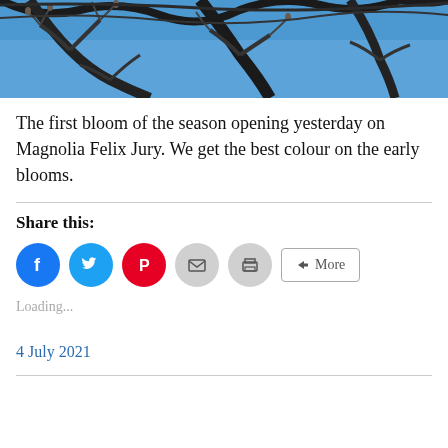[Figure (photo): Bare tree branches against a blue sky, magnolia tree without leaves]
The first bloom of the season opening yesterday on Magnolia Felix Jury. We get the best colour on the early blooms.
Share this:
[Figure (infographic): Share buttons: Facebook (blue circle), Twitter (light blue circle), Pinterest (red circle), Email (grey circle), Print (grey circle), More button]
Loading...
4 July 2021